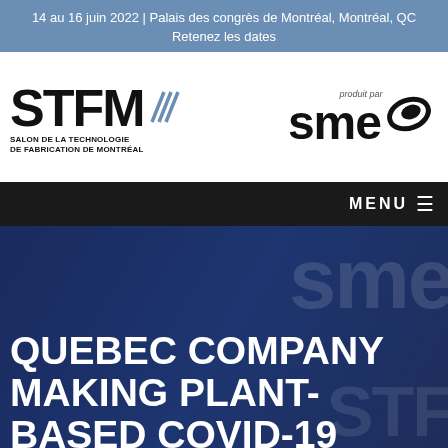14 au 16 juin 2022 | Palais des congrès de Montréal, Montréal, QC
Retenez les dates
[Figure (logo): STFM - Salon de la Technologie de Fabrication de Montréal logo on the left, and SME logo with 'produit par' on the right]
MENU
QUEBEC COMPANY MAKING PLANT-BASED COVID-19 VACCINE